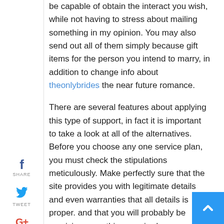be capable of obtain the interact you wish, while not having to stress about mailing something in my opinion. You may also send out all of them simply because gift items for the person you intend to marry, in addition to change info about theonlybrides the near future romance.
There are several features about applying this type of support, in fact it is important to take a look at all of the alternatives. Before you choose any one service plan, you must check the stipulations meticulously. Make perfectly sure that the site provides you with legitimate details and even warranties that all details is proper. and that you will probably be receiving everything required.
Searching the net regarding over the internet postal mail buy wedding brides provider in addition to read up on all the distinct web pages, and look for the various internet sites and customer reviews. Search for a internet site that offers very good customer reviews and provides the